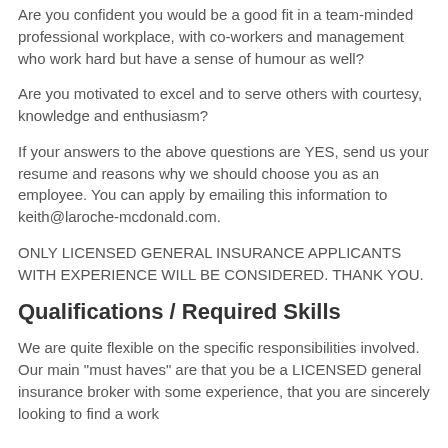Are you confident you would be a good fit in a team-minded professional workplace, with co-workers and management who work hard but have a sense of humour as well?
Are you motivated to excel and to serve others with courtesy, knowledge and enthusiasm?
If your answers to the above questions are YES, send us your resume and reasons why we should choose you as an employee. You can apply by emailing this information to keith@laroche-mcdonald.com.
ONLY LICENSED GENERAL INSURANCE APPLICANTS WITH EXPERIENCE WILL BE CONSIDERED. THANK YOU.
Qualifications / Required Skills
We are quite flexible on the specific responsibilities involved. Our main "must haves" are that you be a LICENSED general insurance broker with some experience, that you are sincerely looking to find a work